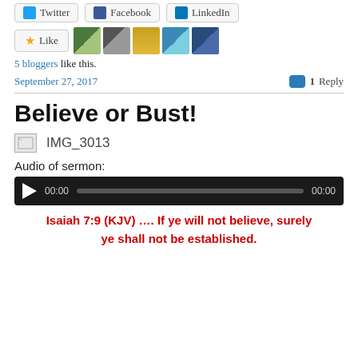[Figure (screenshot): Social share buttons: Twitter, Facebook, LinkedIn]
[Figure (screenshot): Like button with 5 blogger avatar thumbnails]
5 bloggers like this.
September 27, 2017   1 Reply
Believe or Bust!
[Figure (photo): Broken image placeholder with label IMG_3013]
Audio of sermon:
[Figure (screenshot): Audio player with play button, time 00:00 and progress bar]
Isaiah 7:9 (KJV) …. If ye will not believe, surely ye shall not be established.